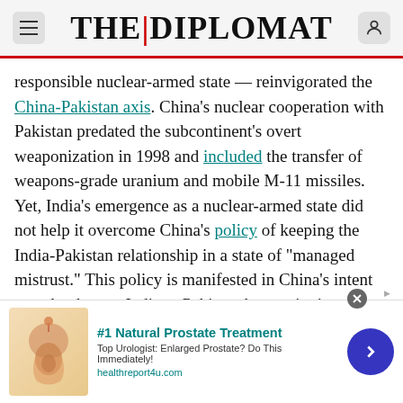THE DIPLOMAT
responsible nuclear-armed state — reinvigorated the China-Pakistan axis. China's nuclear cooperation with Pakistan predated the subcontinent's overt weaponization in 1998 and included the transfer of weapons-grade uranium and mobile M-11 missiles. Yet, India's emergence as a nuclear-armed state did not help it overcome China's policy of keeping the India-Pakistan relationship in a state of "managed mistrust." This policy is manifested in China's intent to re-hyphenate India to Pakistan by continuing to transfer military technology to Pakistan and linking India's NSG membership to Pakistan's. In March of this year, China admitted it had exported an
[Figure (infographic): Advertisement banner: #1 Natural Prostate Treatment - Top Urologist: Enlarged Prostate? Do This Immediately! healthreport4u.com - with anatomical illustration and navigation arrow]